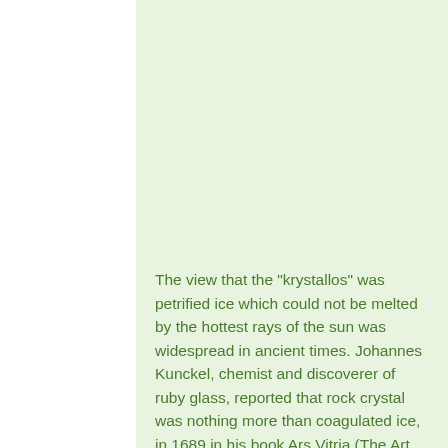The view that the "krystallos" was petrified ice which could not be melted by the hottest rays of the sun was widespread in ancient times. Johannes Kunckel, chemist and discoverer of ruby glass, reported that rock crystal was nothing more than coagulated ice, in 1689 in his book Ars Vitria (The Art of Glassmaking), even though the physicist and chemist Robert Boyle effectively discredited this legend in 1672, in his work Essay on the Origin and Properties of Precious Stones. He determined that the specific gravity of "crystall"